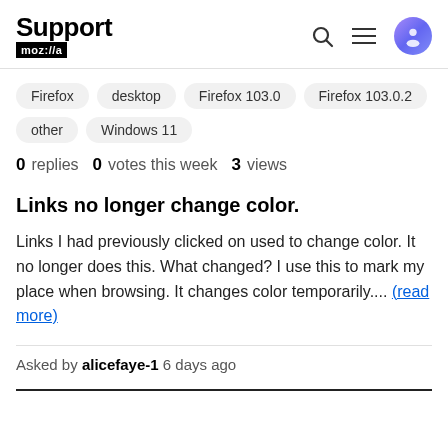Support moz://a
Firefox
desktop
Firefox 103.0
Firefox 103.0.2
other
Windows 11
0 replies  0 votes this week  3 views
Links no longer change color.
Links I had previously clicked on used to change color. It no longer does this. What changed? I use this to mark my place when browsing. It changes color temporarily.... (read more)
Asked by alicefaye-1 6 days ago